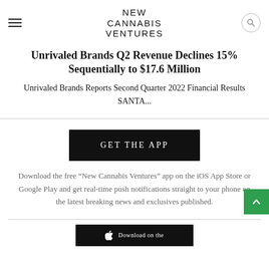NEW CANNABIS VENTURES
Unrivaled Brands Q2 Revenue Declines 15% Sequentially to $17.6 Million
Unrivaled Brands Reports Second Quarter 2022 Financial Results SANTA...
GET THE APP
Download the free “New Cannabis Ventures” app on the iOS App Store or Google Play and get real-time push notifications straight to your phone on the latest breaking news and exclusives published.
Download on the